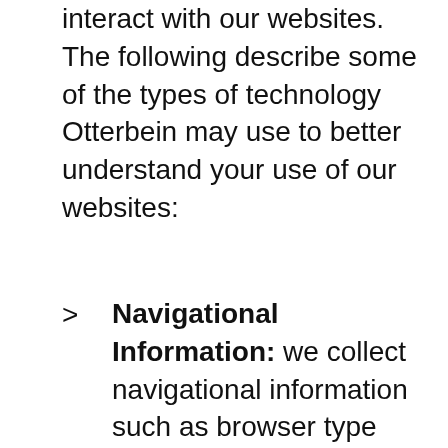interact with our websites. The following describe some of the types of technology Otterbein may use to better understand your use of our websites:
Navigational Information: we collect navigational information such as browser type and version; the service provider used to access our websites; whether visitors arrived through a link for our websites; and for visitors using a mobile version of our websites, technical information about the device used...